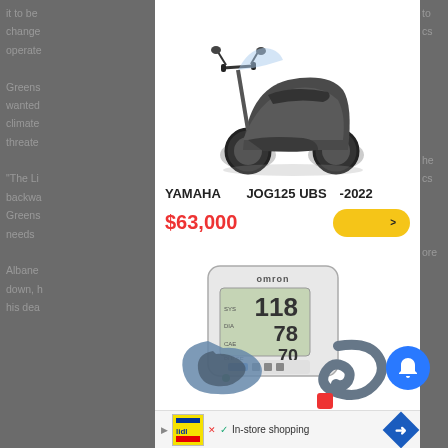it to be change operate Greens wanted climate threate
[Figure (photo): Dark grey Yamaha JOG125 scooter/moped on white background]
YAMAHA　　 JOG125 UBS　 -2022
$63,000
[Figure (photo): OMRON blood pressure monitor showing readings 118/78/70 with blue cuff]
OMRON　　　　　　　 OMRON　　　　　　　 HEM-
"The Li backwa Greens needs
Albane down. h his dea
want to ics ore
he cs
In-store shopping